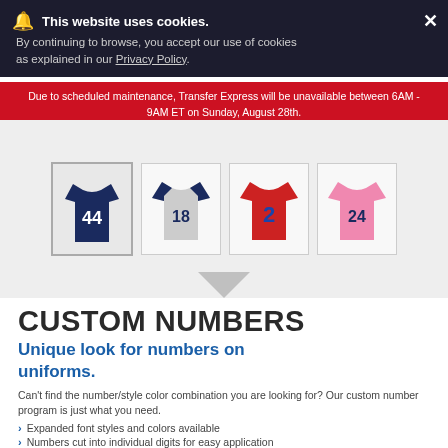This website uses cookies. By continuing to browse, you accept our use of cookies as explained in our Privacy Policy.
Due to scheduled maintenance, Transfer Express will be unavailable between 6AM - 9AM ET on Sunday, August 28th.
[Figure (photo): Four jersey product thumbnails showing custom numbers: #44 navy jersey, #18 gray/navy raglan, #2 red jersey, #24 pink jersey]
CUSTOM NUMBERS
Unique look for numbers on uniforms.
Can't find the number/style color combination you are looking for? Our custom number program is just what you need.
Expanded font styles and colors available
Numbers cut into individual digits for easy application
Choose from Goof Proof® or Elasti Prints® transfer types
To order: Call 1-800-622-2280